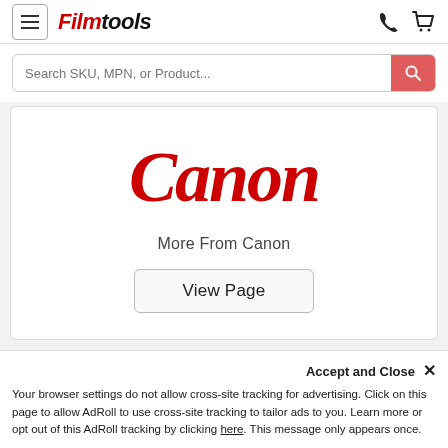Filmtools — Menu, Phone, Cart
Search SKU, MPN, or Product...
[Figure (logo): Canon logo in red with stylized lettering]
More From Canon
View Page
Related Products
Accept and Close ✕
Your browser settings do not allow cross-site tracking for advertising. Click on this page to allow AdRoll to use cross-site tracking to tailor ads to you. Learn more or opt out of this AdRoll tracking by clicking here. This message only appears once.